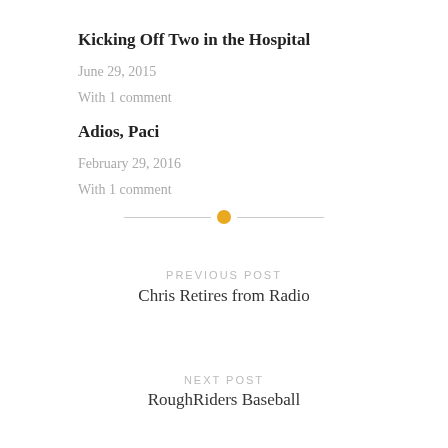Kicking Off Two in the Hospital
June 29, 2015
With 1 comment
Adios, Paci
February 29, 2016
With 1 comment
[Figure (other): Horizontal divider with a golden/amber circle in the center]
PREVIOUS POST
Chris Retires from Radio
NEXT POST
RoughRiders Baseball